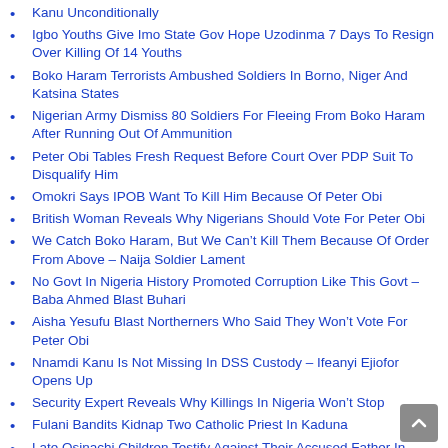Kanu Unconditionally
Igbo Youths Give Imo State Gov Hope Uzodinma 7 Days To Resign Over Killing Of 14 Youths
Boko Haram Terrorists Ambushed Soldiers In Borno, Niger And Katsina States
Nigerian Army Dismiss 80 Soldiers For Fleeing From Boko Haram After Running Out Of Ammunition
Peter Obi Tables Fresh Request Before Court Over PDP Suit To Disqualify Him
Omokri Says IPOB Want To Kill Him Because Of Peter Obi
British Woman Reveals Why Nigerians Should Vote For Peter Obi
We Catch Boko Haram, But We Can't Kill Them Because Of Order From Above – Naija Soldier Lament
No Govt In Nigeria History Promoted Corruption Like This Govt – Baba Ahmed Blast Buhari
Aisha Yesufu Blast Northerners Who Said They Won't Vote For Peter Obi
Nnamdi Kanu Is Not Missing In DSS Custody – Ifeanyi Ejiofor Opens Up
Security Expert Reveals Why Killings In Nigeria Won't Stop
Fulani Bandits Kidnap Two Catholic Priest In Kaduna
Late Osinachi Children Testify Against Their Accused Father In